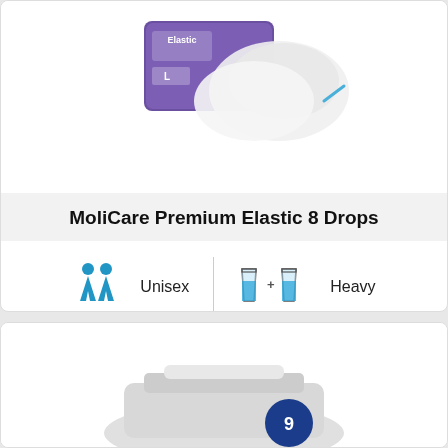[Figure (photo): MoliCare Premium Elastic 8 Drops product package with adult diapers visible, purple and white box labeled 'Elastic L', partially cropped at top]
MoliCare Premium Elastic 8 Drops
[Figure (infographic): Unisex icon (two blue human figures, male and female) with label 'Unisex', vertical divider, then two full blue cups icon with plus sign and label 'Heavy']
View more
[Figure (photo): Bottom of another product card showing a grey/white adult diaper product partially visible, with a blue circular icon with number 9]